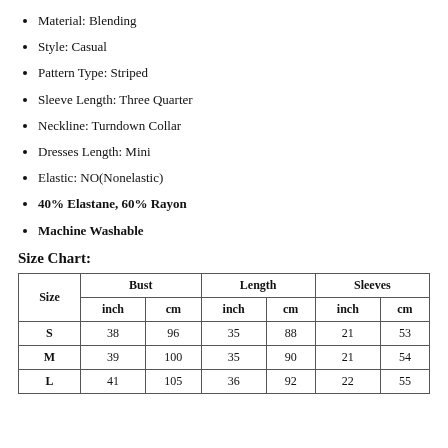Material: Blending
Style: Casual
Pattern Type: Striped
Sleeve Length: Three Quarter
Neckline: Turndown Collar
Dresses Length: Mini
Elastic: NO(Nonelastic)
40% Elastane, 60% Rayon
Machine Washable
Size Chart:
| Size | Bust inch | Bust cm | Length inch | Length cm | Sleeves inch | Sleeves cm |
| --- | --- | --- | --- | --- | --- | --- |
| S | 38 | 96 | 35 | 88 | 21 | 53 |
| M | 39 | 100 | 35 | 90 | 21 | 54 |
| L | 41 | 105 | 36 | 92 | 22 | 55 |